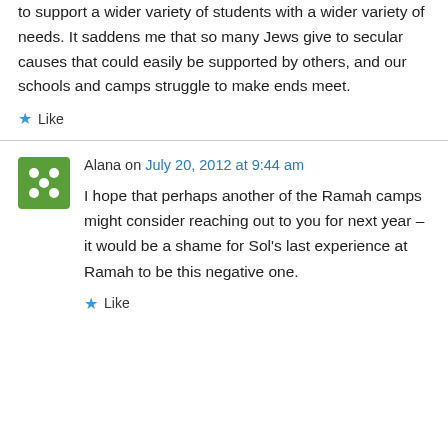to support a wider variety of students with a wider variety of needs. It saddens me that so many Jews give to secular causes that could easily be supported by others, and our schools and camps struggle to make ends meet.
★ Like
Alana on July 20, 2012 at 9:44 am
I hope that perhaps another of the Ramah camps might consider reaching out to you for next year – it would be a shame for Sol's last experience at Ramah to be this negative one.
★ Like